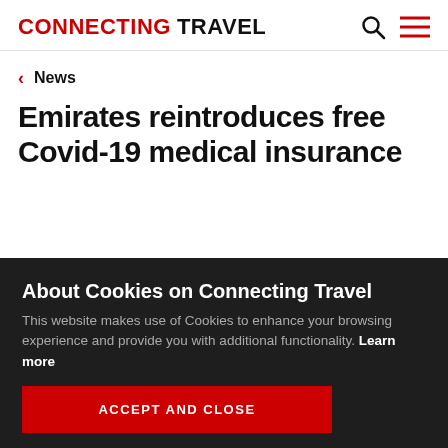CONNECTING TRAVEL
News
Emirates reintroduces free Covid-19 medical insurance
About Cookies on Connecting Travel
This website makes use of Cookies to enhance your browsing experience and provide you with additional functionality. Learn more
ACCEPT AND CLOSE